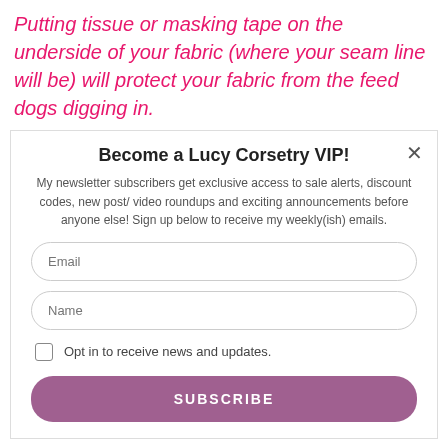Putting tissue or masking tape on the underside of your fabric (where your seam line will be) will protect your fabric from the feed dogs digging in.
Become a Lucy Corsetry VIP!
My newsletter subscribers get exclusive access to sale alerts, discount codes, new post/ video roundups and exciting announcements before anyone else! Sign up below to receive my weekly(ish) emails.
Email
Name
Opt in to receive news and updates.
SUBSCRIBE